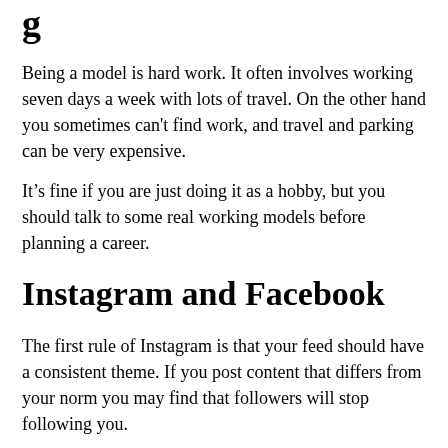g
Being a model is hard work. It often involves working seven days a week with lots of travel. On the other hand you sometimes can't find work, and travel and parking can be very expensive.
It’s fine if you are just doing it as a hobby, but you should talk to some real working models before planning a career.
Instagram and Facebook
The first rule of Instagram is that your feed should have a consistent theme. If you post content that differs from your norm you may find that followers will stop following you.
Your theme can of course be yourself. But lots of